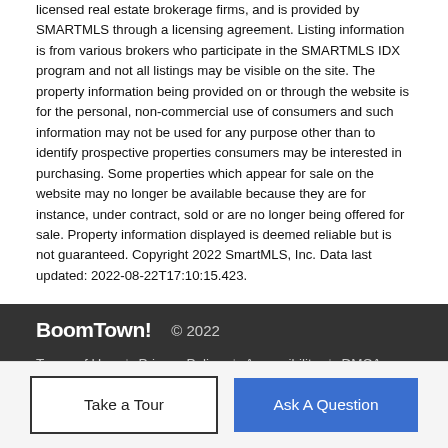licensed real estate brokerage firms, and is provided by SMARTMLS through a licensing agreement. Listing information is from various brokers who participate in the SMARTMLS IDX program and not all listings may be visible on the site. The property information being provided on or through the website is for the personal, non-commercial use of consumers and such information may not be used for any purpose other than to identify prospective properties consumers may be interested in purchasing. Some properties which appear for sale on the website may no longer be available because they are for instance, under contract, sold or are no longer being offered for sale. Property information displayed is deemed reliable but is not guaranteed. Copyright 2022 SmartMLS, Inc. Data last updated: 2022-08-22T17:10:15.423.
BoomTown! © 2022 | Terms of Use | Privacy Policy | Accessibility | DMCA | Listings Sitemap
Take a Tour
Ask A Question